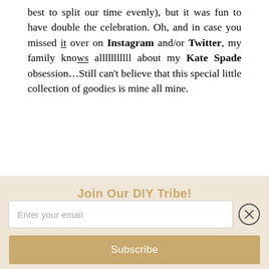best to split our time evenly), but it was fun to have double the celebration. Oh, and in case you missed it over on Instagram and/or Twitter, my family knows alllllllllll about my Kate Spade obsession…Still can't believe that this special little collection of goodies is mine all mine.
Join Our DIY Tribe!
Enter your email
Subscribe